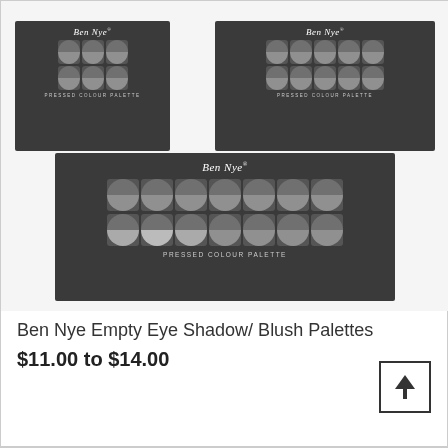[Figure (photo): Three Ben Nye Pressed Colour Palette cases shown: a small 4-slot palette (top-left), a medium 8-slot palette (top-right), and a large 10-slot palette (bottom center), all in dark gray packaging with 'Ben Nye' branding and 'PRESSED COLOUR PALETTE' text.]
Ben Nye Empty Eye Shadow/ Blush Palettes
$11.00 to $14.00